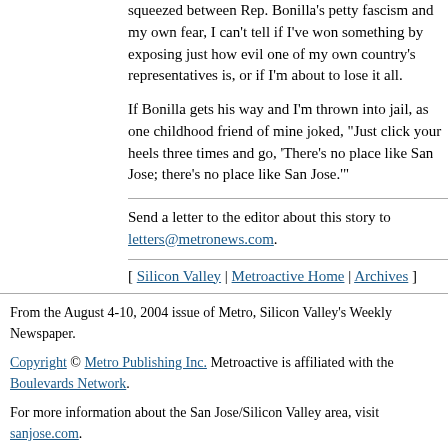squeezed between Rep. Bonilla's petty fascism and my own fear, I can't tell if I've won something by exposing just how evil one of my own country's representatives is, or if I'm about to lose it all.
If Bonilla gets his way and I'm thrown into jail, as one childhood friend of mine joked, "Just click your heels three times and go, 'There's no place like San Jose; there's no place like San Jose.'"
Send a letter to the editor about this story to letters@metronews.com.
[ Silicon Valley | Metroactive Home | Archives ]
From the August 4-10, 2004 issue of Metro, Silicon Valley's Weekly Newspaper.
Copyright © Metro Publishing Inc. Metroactive is affiliated with the Boulevards Network.
For more information about the San Jose/Silicon Valley area, visit sanjose.com.